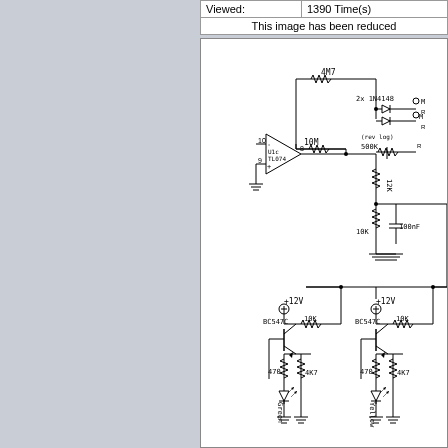| Viewed: | 1390 Time(s) |
| --- | --- |
This image has been reduced
[Figure (circuit-diagram): Electronic circuit schematic showing op-amp U1c TL074 with 4M7 and 10M resistors, 2x 1N4148 diodes, 500K (rev log) potentiometer, 12K and 10K resistors, 100nF capacitor in upper section; lower section shows two BC547C transistor driver circuits with 10K, 470, 4K7 resistors and LEDs labeled Green and Yellow, powered by +12V supplies.]